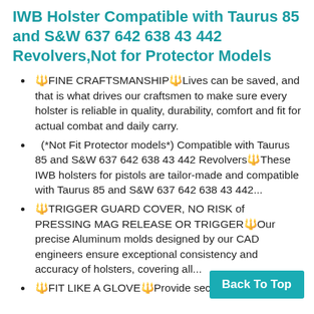IWB Holster Compatible with Taurus 85 and S&W 637 642 638 43 442 Revolvers,Not for Protector Models
🔱FINE CRAFTSMANSHIP🔱Lives can be saved, and that is what drives our craftsmen to make sure every holster is reliable in quality, durability, comfort and fit for actual combat and daily carry.
(*Not Fit Protector models*) Compatible with Taurus 85 and S&W 637 642 638 43 442 Revolvers🔱These IWB holsters for pistols are tailor-made and compatible with Taurus 85 and S&W 637 642 638 43 442...
🔱TRIGGER GUARD COVER, NO RISK of PRESSING MAG RELEASE OR TRIGGER🔱Our precise Aluminum molds designed by our CAD engineers ensure exceptional consistency and accuracy of holsters, covering all...
🔱FIT LIKE A GLOVE🔱Provide secure retention with tension adjustments...